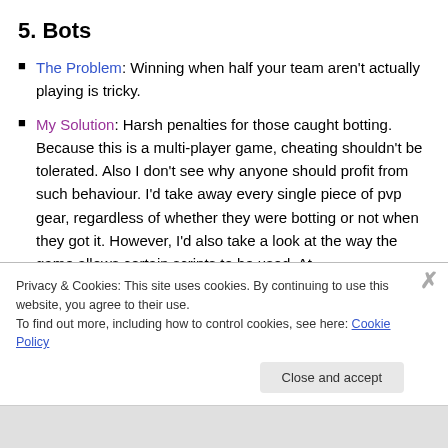5. Bots
The Problem: Winning when half your team aren't actually playing is tricky.
My Solution: Harsh penalties for those caught botting. Because this is a multi-player game, cheating shouldn't be tolerated. Also I don't see why anyone should profit from such behaviour. I'd take away every single piece of pvp gear, regardless of whether they were botting or not when they got it. However, I'd also take a look at the way the game allows certain scripts to be used. At
Privacy & Cookies: This site uses cookies. By continuing to use this website, you agree to their use.
To find out more, including how to control cookies, see here: Cookie Policy